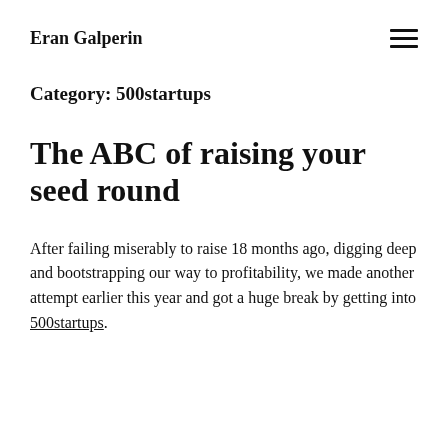Eran Galperin
Category: 500startups
The ABC of raising your seed round
After failing miserably to raise 18 months ago, digging deep and bootstrapping our way to profitability, we made another attempt earlier this year and got a huge break by getting into 500startups.